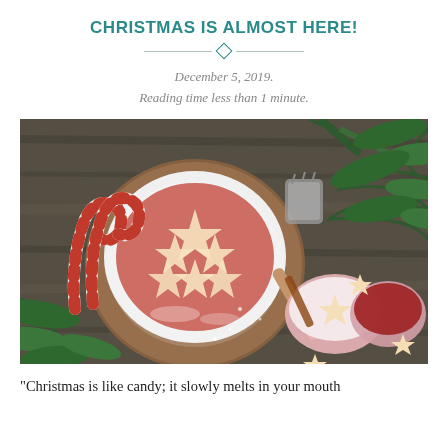CHRISTMAS IS ALMOST HERE!
December 5, 2019.
Reading time less than 1 minute.
[Figure (photo): Overhead flat-lay photo of a Christmas star-cookie pie in a white ruffled baking dish on a wooden board, surrounded by candy canes, pine branches, a small pink bowl with star cookies, a bowl of red jam, a flour sifter, and loose star-shaped cookies on a dark wooden table dusted with powdered sugar.]
“Christmas is like candy; it slowly melts in your mouth